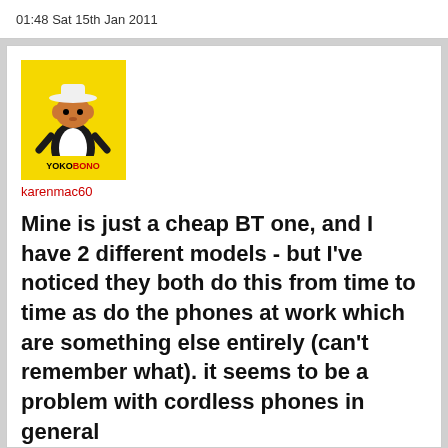01:48 Sat 15th Jan 2011
[Figure (illustration): Yellow square avatar with cartoon character (cat/animal in cowboy hat and black outfit). Label reads YOKOBONO.]
karenmac60
Mine is just a cheap BT one, and I have 2 different models - but I've noticed they both do this from time to time as do the phones at work which are something else entirely (can't remember what). it seems to be a problem with cordless phones in general